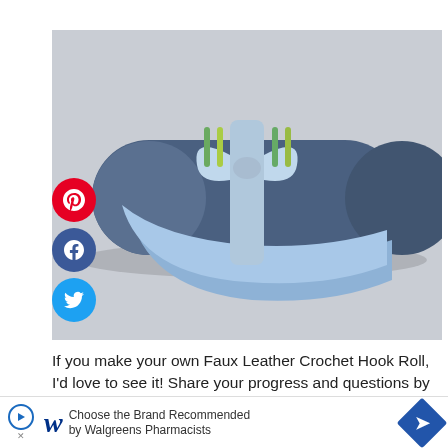[Figure (photo): A blue faux leather crochet hook roll, rolled up and tied with a light blue strap/bow, with crochet hooks visible inside, photographed from above on a light gray background. Social sharing buttons (Pinterest, Facebook, Twitter) are overlaid on the left side.]
If you make your own Faux Leather Crochet Hook Roll, I'd love to see it! Share your progress and questions by tagging me on Facebook as @Ui[...]er, or Tv[x...]
[Figure (other): Walgreens advertisement banner: 'Choose the Brand Recommended by Walgreens Pharmacists' with Walgreens logo and a blue diamond navigation icon.]